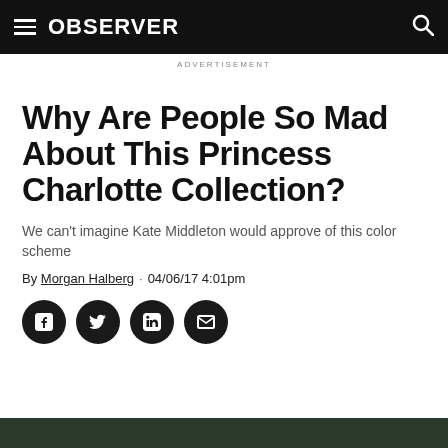OBSERVER
ADVERTISEMENT
Why Are People So Mad About This Princess Charlotte Collection?
We can't imagine Kate Middleton would approve of this color scheme
By Morgan Halberg · 04/06/17 4:01pm
[Figure (other): Social share buttons: Facebook, Twitter, LinkedIn, Email]
[Figure (photo): Partial image at bottom of page, appears to be outdoor/nature scene]